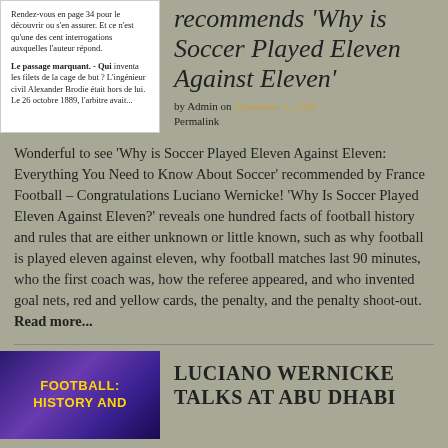Rendez-vous en page 34 pour le découvrir ou s'en assurer. Et ce n'est qu'une des cent interrogations auxquelles l'auteur répond.
Le passage marquant. - Qui inventa les filets de la cage de but ? L'ingénieur civil Alexander Brodie était hors de lui. Le 26 octobre 1889, l'arbitre avait...
recommends 'Why is Soccer Played Eleven Against Eleven'
by Admin on September 5, 2020
Permalink
Wonderful to see 'Why is Soccer Played Eleven Against Eleven: Everything You Need to Know About Soccer' recommended by France Football – Congratulations Luciano Wernicke! 'Why Is Soccer Played Eleven Against Eleven?' reveals one hundred facts of football history and rules that are either unknown or little known, such as why football is played eleven against eleven, why football matches last 90 minutes, who the first coach was, how the referee appeared, and who invented goal nets, red and yellow cards, the penalty, and the penalty shoot-out. Read more...
[Figure (photo): Book cover or promotional image with text 'FOOTBALL: HISTORY AND' on purple/blue background in gold letters]
LUCIANO WERNICKE TALKS AT ABU DHABI